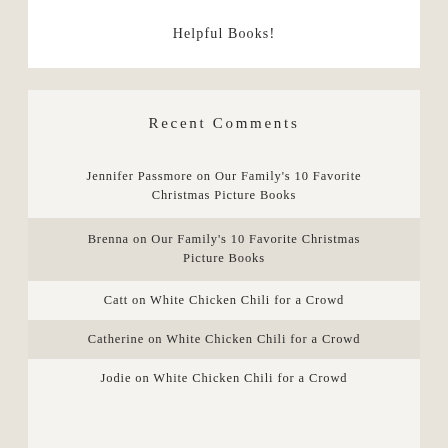Helpful Books!
Recent Comments
Jennifer Passmore on Our Family's 10 Favorite Christmas Picture Books
Brenna on Our Family's 10 Favorite Christmas Picture Books
Catt on White Chicken Chili for a Crowd
Catherine on White Chicken Chili for a Crowd
Jodie on White Chicken Chili for a Crowd